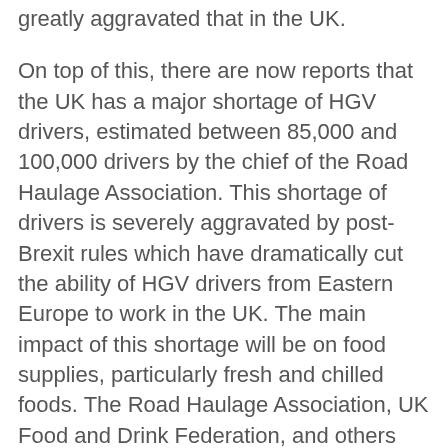greatly aggravated that in the UK.
On top of this, there are now reports that the UK has a major shortage of HGV drivers, estimated between 85,000 and 100,000 drivers by the chief of the Road Haulage Association. This shortage of drivers is severely aggravated by post-Brexit rules which have dramatically cut the ability of HGV drivers from Eastern Europe to work in the UK. The main impact of this shortage will be on food supplies, particularly fresh and chilled foods. The Road Haulage Association, UK Food and Drink Federation, and others have written a letter to the Prime Minister explaining why urgent action is needed. For more details, see this feature in the June 26 Guardian.
Richard Burnett, the chief executive of the Road